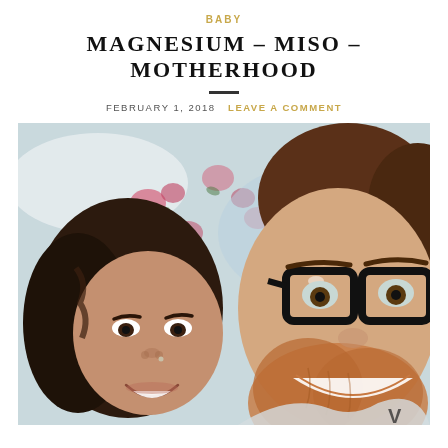BABY
MAGNESIUM – MISO – MOTHERHOOD
FEBRUARY 1, 2018  LEAVE A COMMENT
[Figure (photo): A smiling couple taking a selfie while lying down. A woman with dark hair is on the left, and a man with glasses and a beard is on the right. They are lying on a floral patterned surface.]